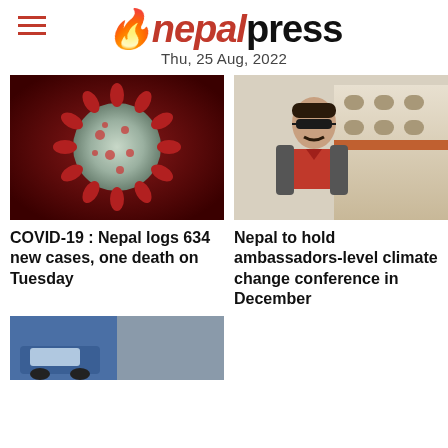nepalpress — Thu, 25 Aug, 2022
[Figure (photo): 3D render of coronavirus particle on dark red background]
[Figure (photo): Man wearing sunglasses and red polo shirt standing in front of a government building]
COVID-19 : Nepal logs 634 new cases, one death on Tuesday
Nepal to hold ambassadors-level climate change conference in December
[Figure (photo): Partial view of vehicles, bottom strip image cut off]